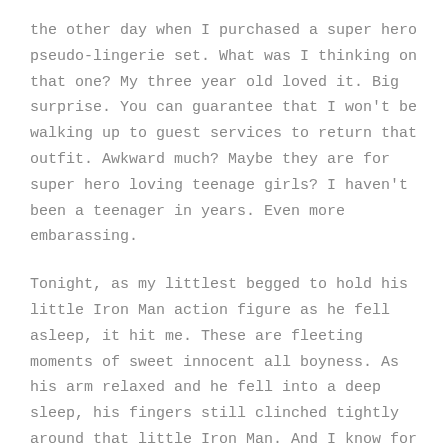the other day when I purchased a super hero pseudo-lingerie set. What was I thinking on that one? My three year old loved it. Big surprise. You can guarantee that I won't be walking up to guest services to return that outfit. Awkward much? Maybe they are for super hero loving teenage girls? I haven't been a teenager in years. Even more embarassing.
Tonight, as my littlest begged to hold his little Iron Man action figure as he fell asleep, it hit me. These are fleeting moments of sweet innocent all boyness. As his arm relaxed and he fell into a deep sleep, his fingers still clinched tightly around that little Iron Man. And I know for a fact, that when that precious boy wanders into his mom and dad's room for an upgrade in bed